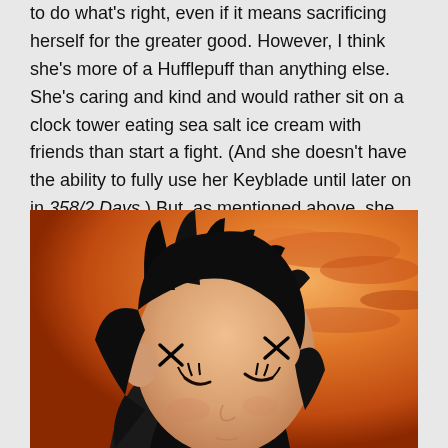to do what's right, even if it means sacrificing herself for the greater good. However, I think she's more of a Hufflepuff than anything else. She's caring and kind and would rather sit on a clock tower eating sea salt ice cream with friends than start a fight. (And she doesn't have the ability to fully use her Keyblade until later on in 358/2 Days.) But, as mentioned above, she sacrifices herself because of Roxas and for Sora. She's willing to lay down her life for friends, even people she hasn't even met.
[Figure (photo): Close-up screenshot from a video game (Kingdom Hearts) showing an anime-style character with black spiky hair and closed eyes, with a warm orange sunset sky background.]